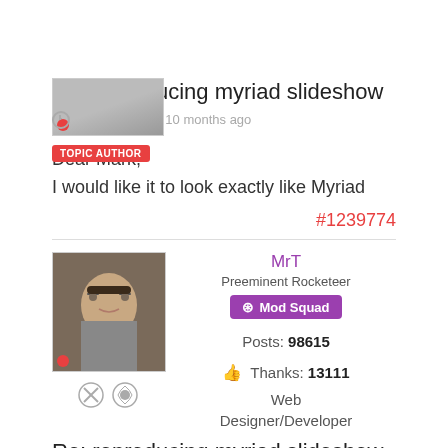[Figure (photo): Profile photo thumbnail at top, partially visible]
TOPIC AUTHOR
Re: reproducing myriad slideshow
Posted 6 years 10 months ago
Dear Mark,
I would like it to look exactly like Myriad
#1239774
[Figure (photo): Profile photo of MrT - man with glasses]
MrT
Preeminent Rocketeer
Mod Squad
Posts: 98615
Thanks: 13111
Web Designer/Developer
Re: reproducing myriad slideshow